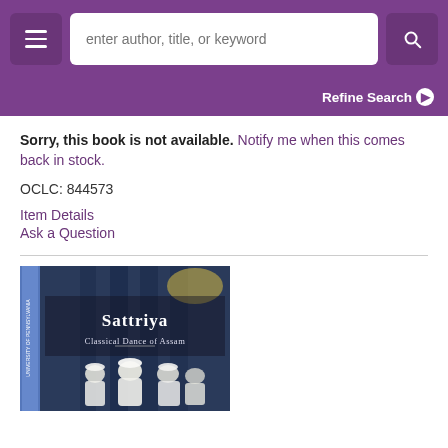enter author, title, or keyword | Refine Search
Sorry, this book is not available. Notify me when this comes back in stock.
OCLC: 844573
Item Details
Ask a Question
[Figure (photo): Book cover photo of 'Sattriya Classical Dance of Assam' showing performers in white attire with a blue ruler on the left side]